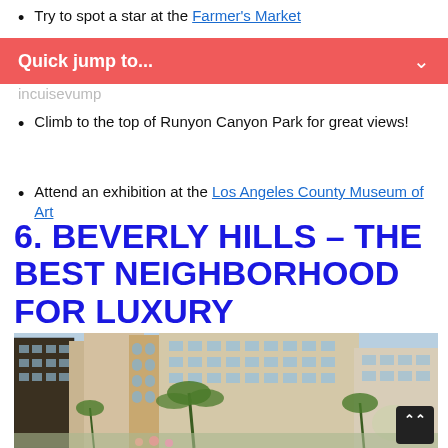Try to spot a star at the Farmer's Market
Climb to the top of Runyon Canyon Park for great views!
Attend an exhibition at the Los Angeles County Museum of Art
6. BEVERLY HILLS – THE BEST NEIGHBORHOOD FOR LUXURY
[Figure (photo): Street view of large multi-story buildings in Beverly Hills with palm trees in foreground and blue sky]